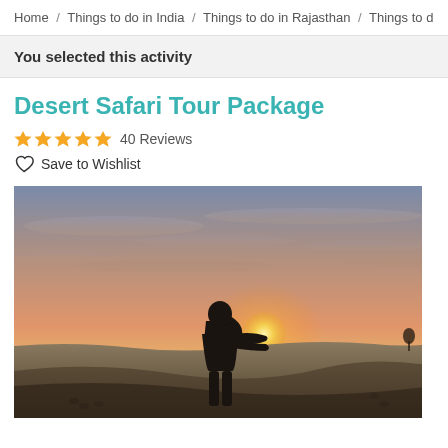Home / Things to do in India / Things to do in Rajasthan / Things to d
You selected this activity
Desert Safari Tour Package
★★★★★ 40 Reviews
♡ Save to Wishlist
[Figure (photo): A person silhouetted against a desert sunset, appearing to hold the sun in their hands, standing on sand dunes with a warm orange and pink sky in the background.]